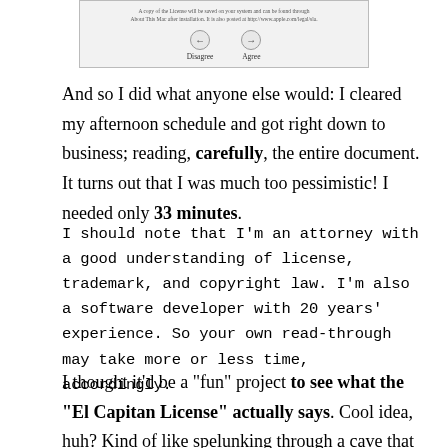[Figure (screenshot): macOS installer dialog box showing small text about license copy location and two buttons: Disagree (left arrow) and Agree (right arrow)]
And so I did what anyone else would: I cleared my afternoon schedule and got right down to business; reading, carefully, the entire document. It turns out that I was much too pessimistic! I needed only 33 minutes.
I should note that I'm an attorney with a good understanding of license, trademark, and copyright law. I'm also a software developer with 20 years' experience. So your own read-through may take more or less time, accordingly.
I thought it'd be a “fun” project to see what the “El Capitan License” actually says. Cool idea, huh? Kind of like spelunking through a cave that everyone says they've been through, but maybe no one really has. What will I find wedged in a wall or lurking in the dark